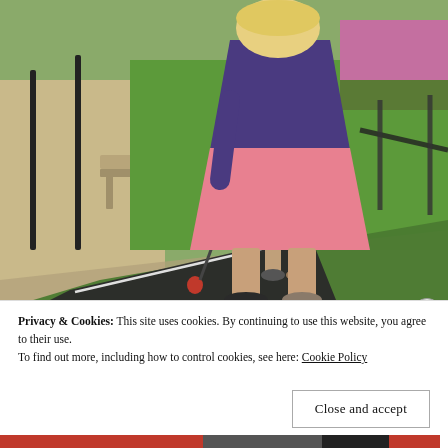[Figure (photo): Outdoor mini golf scene. An adult woman in a pink dress and purple top bends over a toddler in a striped shirt, helping them putt. A red golf ball sits near the hole on a dark putting surface. Green grass, flowers, and a bench visible in background.]
Privacy & Cookies: This site uses cookies. By continuing to use this website, you agree to their use.
To find out more, including how to control cookies, see here: Cookie Policy